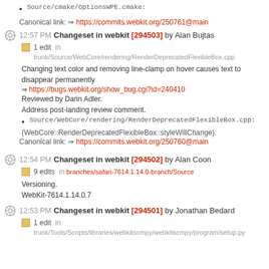Source/cmake/OptionsWPE.cmake:
Canonical link: https://commits.webkit.org/250761@main
12:57 PM Changeset in webkit [294503] by Alan Bujtas
1 edit in trunk/Source/WebCore/rendering/RenderDeprecatedFlexibleBox.cpp
Changing text color and removing line-clamp on hover causes text to disappear permanently
https://bugs.webkit.org/show_bug.cgi?id=240410
Reviewed by Darin Adler.
Address post-landing review comment.
Source/WebCore/rendering/RenderDeprecatedFlexibleBox.cpp:
(WebCore::RenderDeprecatedFlexibleBox::styleWillChange):
Canonical link: https://commits.webkit.org/250760@main
12:54 PM Changeset in webkit [294502] by Alan Coon
9 edits in branches/safari-7614.1.14.0-branch/Source
Versioning.
WebKit-7614.1.14.0.7
12:53 PM Changeset in webkit [294501] by Jonathan Bedard
1 edit in trunk/Tools/Scripts/libraries/webkitscmpy/webkitscmpy/program/setup.py